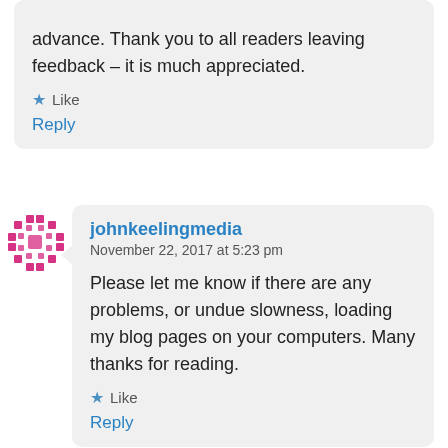advance. Thank you to all readers leaving feedback – it is much appreciated.
★ Like
Reply
johnkeelingmedia
November 22, 2017 at 5:23 pm
Please let me know if there are any problems, or undue slowness, loading my blog pages on your computers. Many thanks for reading.
★ Like
Reply